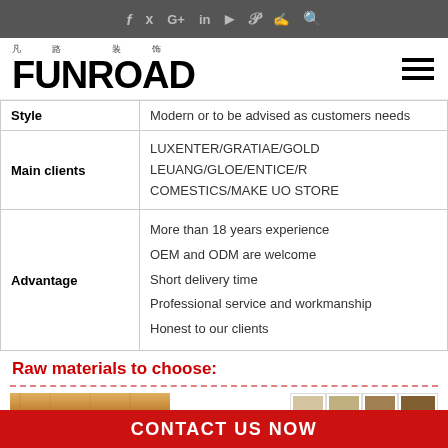Social media icons bar
[Figure (logo): FUNROAD logo with Chinese characters above]
|  |  |
| --- | --- |
| Style | Modern or to be advised as customers needs |
| Main clients | LUXENTER/GRATIAE/GOLD LEUANG/GLOE/ENTICE/R COMESTICS/MAKE UO STORE |
| Advantage | More than 18 years experience
OEM and ODM are welcome
Short delivery time
Professional service and workmanship
Honest to our clients |
Raw materials to choose:
[Figure (photo): Wood plank layered material photo]
[Figure (photo): Color swatches grid showing various wood finishes]
CONTACT US NOW